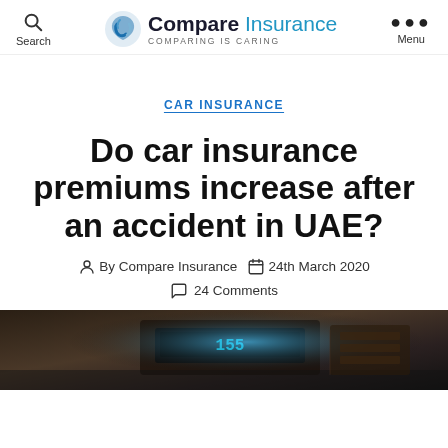Compare Insurance — COMPARING IS CARING
CAR INSURANCE
Do car insurance premiums increase after an accident in UAE?
By Compare Insurance   24th March 2020   24 Comments
[Figure (photo): Dashboard interior of a car at night, with a glowing speedometer display visible]